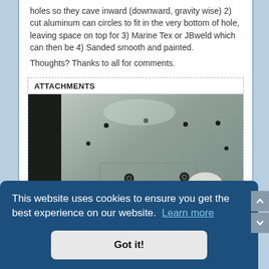holes so they cave inward (downward, gravity wise) 2) cut aluminum can circles to fit in the very bottom of hole, leaving space on top for 3) Marine Tex or JBweld which can then be 4) Sanded smooth and painted.
Thoughts? Thanks to all for comments.
ATTACHMENTS
[Figure (photo): Photo of a metallic aluminum boat hull interior showing drilled holes and some white filler/sealant material on the surface.]
This website uses cookies to ensure you get the best experience on our website. Learn more
Got it!